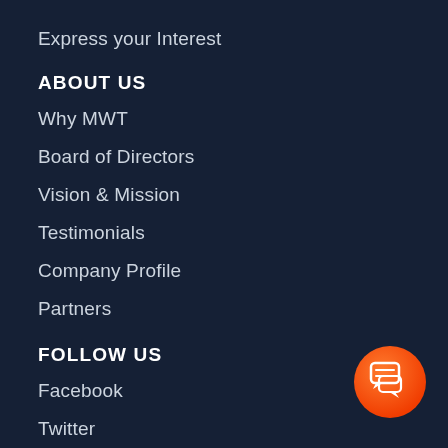Express your Interest
ABOUT US
Why MWT
Board of Directors
Vision & Mission
Testimonials
Company Profile
Partners
FOLLOW US
Facebook
Twitter
Youtube
Instagram
[Figure (illustration): Orange circular chat/message button in the bottom right corner]